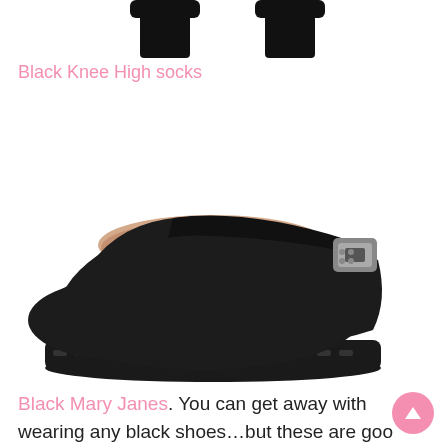[Figure (photo): Two black knee-high socks shown at the top of the page]
Black Knee High socks
[Figure (photo): A black Mary Jane flat shoe with a chunky sole and silver buckle strap, shown against a white background]
Black Mary Janes. You can get away with wearing any black shoes...but these are good for the full school girl look